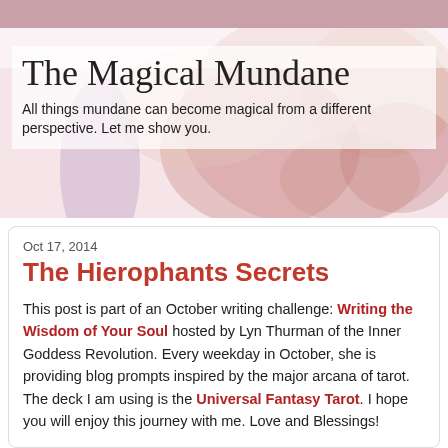The Magical Mundane
All things mundane can become magical from a different perspective. Let me show you.
Oct 17, 2014
The Hierophants Secrets
This post is part of an October writing challenge: Writing the Wisdom of Your Soul hosted by Lyn Thurman of the Inner Goddess Revolution. Every weekday in October, she is providing blog prompts inspired by the major arcana of tarot. The deck I am using is the Universal Fantasy Tarot. I hope you will enjoy this journey with me. Love and Blessings!